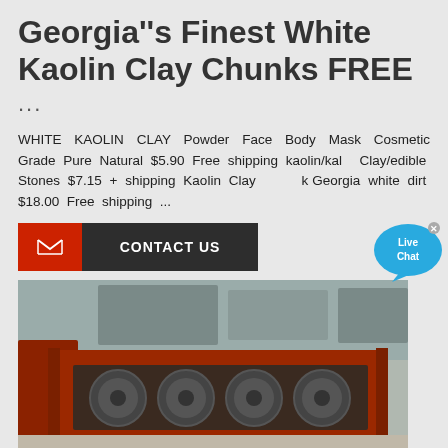Georgia''s Finest White Kaolin Clay Chunks FREE
...
WHITE KAOLIN CLAY Powder Face Body Mask Cosmetic Grade Pure Natural $5.90 Free shipping kaolin/kal... Clay/edible Stones $7.15 + shipping Kaolin Clay ... Georgia white dirt $18.00 Free shipping ...
[Figure (other): Contact Us button with red mail icon on left and dark grey background with white text CONTACT US]
[Figure (photo): Industrial machinery photo showing red metal trough-shaped conveyors or washers with large circular disc blades/wheels inside, in an outdoor industrial setting]